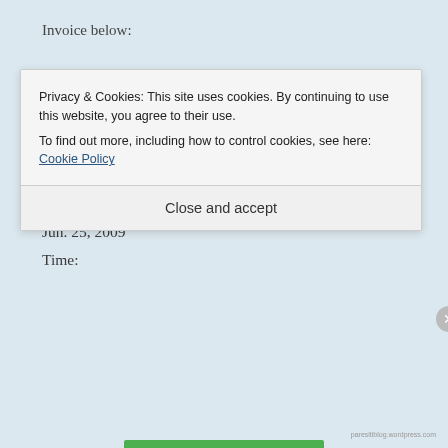Invoice below:
Shopping Cart Payment Sent (Unique Transaction ID #2PA96508KG001350V)
Invoice ID:
12470902
Date:
Jun. 25, 2009
Time:
Privacy & Cookies: This site uses cookies. By continuing to use this website, you agree to their use.
To find out more, including how to control cookies, see here: Cookie Policy
Close and accept